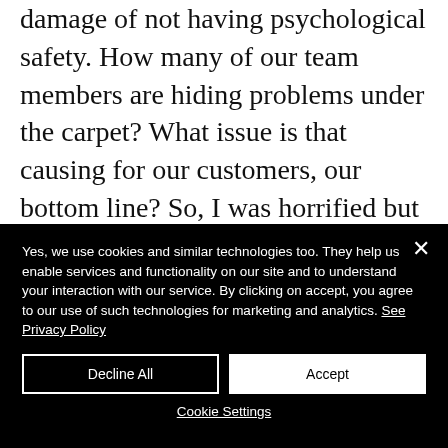damage of not having psychological safety. How many of our team members are hiding problems under the carpet? What issue is that causing for our customers, our bottom line? So, I was horrified but not surprised and then delighted to hear that because I've worked on that, he now feels a lot more comfortable coming to me and saying, “I
Yes, we use cookies and similar technologies too. They help us enable services and functionality on our site and to understand your interaction with our service. By clicking on accept, you agree to our use of such technologies for marketing and analytics. See Privacy Policy
Decline All
Accept
Cookie Settings